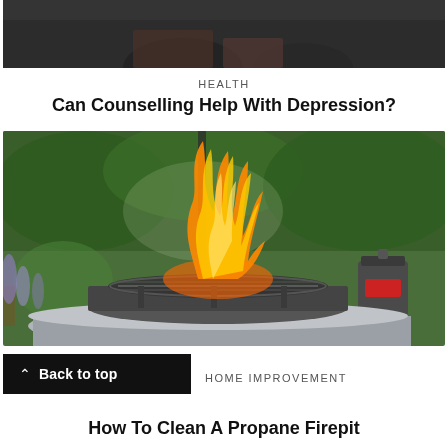[Figure (photo): Top portion of a photo showing feet/legs on a dark floor, partially cropped]
HEALTH
Can Counselling Help With Depression?
[Figure (photo): Outdoor propane firepit with a large orange flame burning on a circular metal grill, set on a round concrete table, with green garden foliage in the background and a propane tank to the right]
Back to top
HOME IMPROVEMENT
How To Clean A Propane Firepit